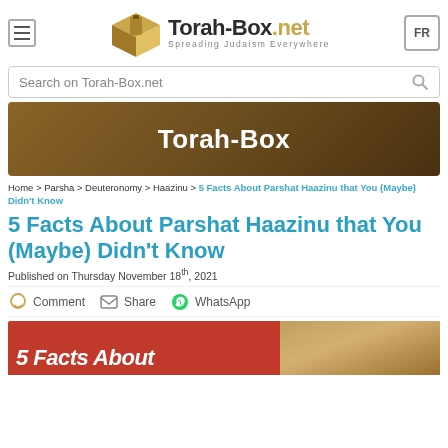[Figure (logo): Torah-Box.net logo with box icon and tagline 'Spreading Judaism Everywhere']
Search on Torah-Box.net
[Figure (illustration): Torah-Box banner with brown gradient background and white bold text 'Torah-Box']
Home > Parsha > Deuteronomy > Haazinu > 5 Facts About Parshat Haazinu that You (Maybe) Didn't Know
5 Facts About Parshat Haazinu that You (Maybe) Didn't Know
Published on Thursday November 18th, 2021
Comment   Share   WhatsApp
[Figure (photo): Partial article image with red background showing '5 Facts About' text in white italic, and a brown/tan right section]